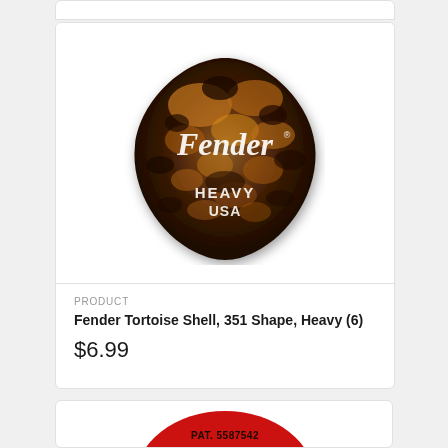[Figure (photo): Fender tortoise shell guitar pick, 351 shape, heavy gauge. Made in USA. Pick has a tortoise shell pattern with brown and black mottled appearance. Fender logo in white cursive script at top, 'HEAVY' and 'USA' text in white at bottom.]
PRODUCT
Fender Tortoise Shell, 351 Shape, Heavy (6)
$6.99
[Figure (photo): Partial view of a red guitar pick with text 'PAT. 5587542' visible at top edge.]